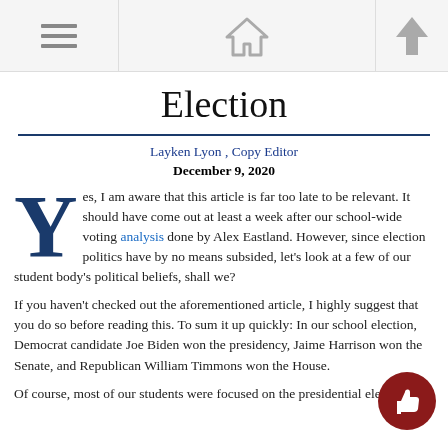[Navigation bar with menu, home, and up icons]
Election
Layken Lyon , Copy Editor
December 9, 2020
Yes, I am aware that this article is far too late to be relevant. It should have come out at least a week after our school-wide voting analysis done by Alex Eastland. However, since election politics have by no means subsided, let's look at a few of our student body's political beliefs, shall we?
If you haven't checked out the aforementioned article, I highly suggest that you do so before reading this. To sum it up quickly: In our school election, Democrat candidate Joe Biden won the presidency, Jaime Harrison won the Senate, and Republican William Timmons won the House.
Of course, most of our students were focused on the presidential election.